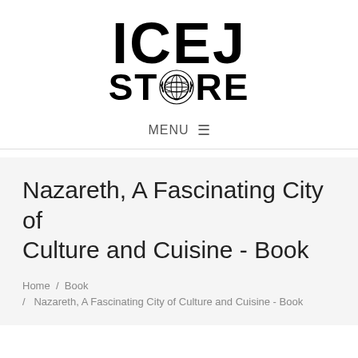[Figure (logo): ICEJ STORE logo in bold black text with a globe emblem replacing the 'O' in STORE]
MENU ≡
Nazareth, A Fascinating City of Culture and Cuisine - Book
Home / Book / Nazareth, A Fascinating City of Culture and Cuisine - Book